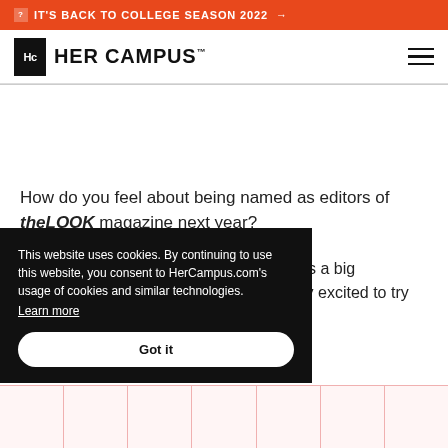IT'S BACK TO COLLEGE SEASON 2022 →
[Figure (logo): Her Campus logo with Hc icon and text HER CAMPUS]
How do you feel about being named as editors of theLOOK magazine next year?
Gracie: I'm really excited and nervous! It's a big responsibility, but I think everyone's really excited to try new things and expand our
This website uses cookies. By continuing to use this website, you consent to HerCampus.com's usage of cookies and similar technologies. Learn more
Got it